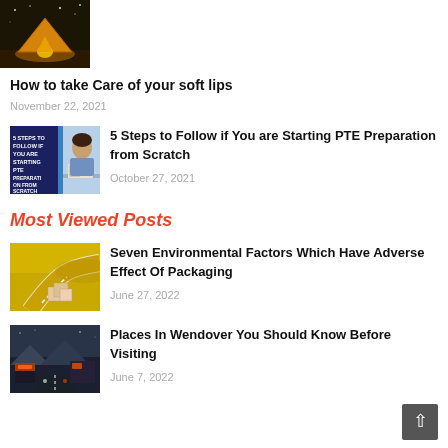[Figure (photo): Camping tent at night with warm orange glow]
How to take Care of your soft lips
November 22, 2021
[Figure (photo): PTE preparation article thumbnail with woman studying]
5 Steps to Follow if You are Starting PTE Preparation from Scratch
October 27, 2021
Most Viewed Posts
[Figure (photo): Yellow road with packaging boxes]
Seven Environmental Factors Which Have Adverse Effect Of Packaging
June 27, 2022
[Figure (photo): Wendover city at night with neon signs]
Places In Wendover You Should Know Before Visiting
June 7, 2022